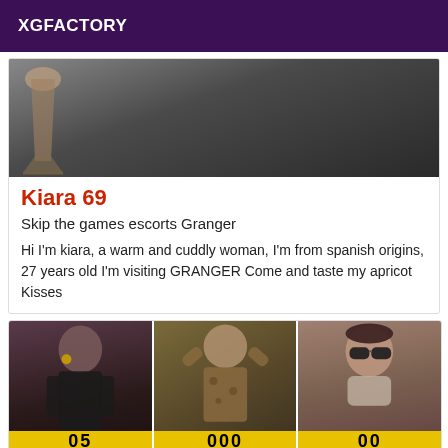XGFACTORY
[Figure (photo): Dark photo showing a high heel shoe in the upper left corner against a dark background]
Kiara 69
Skip the games escorts Granger
Hi I'm kiara, a warm and cuddly woman, I'm from spanish origins, 27 years old I'm visiting GRANGER Come and taste my apricot Kisses
[Figure (photo): Three photos of a woman side by side: first in black outfit, second in leopard print outfit, third wearing sunglasses. Yellow bar at bottom with partially visible numbers.]